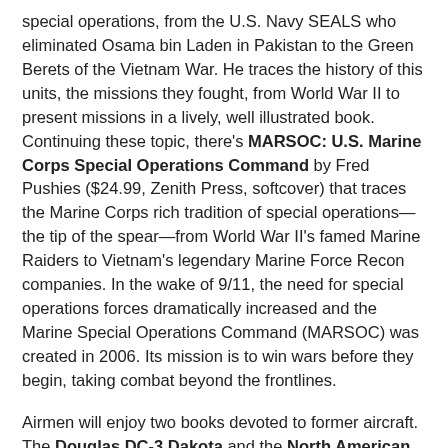special operations, from the U.S. Navy SEALS who eliminated Osama bin Laden in Pakistan to the Green Berets of the Vietnam War. He traces the history of this units, the missions they fought, from World War II to present missions in a lively, well illustrated book. Continuing these topic, there's MARSOC: U.S. Marine Corps Special Operations Command by Fred Pushies ($24.99, Zenith Press, softcover) that traces the Marine Corps rich tradition of special operations—the tip of the spear—from World War II's famed Marine Raiders to Vietnam's legendary Marine Force Recon companies. In the wake of 9/11, the need for special operations forces dramatically increased and the Marine Special Operations Command (MARSOC) was created in 2006. Its mission is to win wars before they begin, taking combat beyond the frontlines.
Airmen will enjoy two books devoted to former aircraft. The Douglas DC-3 Dakota and the North American F-86 Sabre are subjects of an "Owner's Workshop Manual." The former was written by Paul and Louise Blackah and the latter by Mark Linney ($28.00 each, Zenith Press). The Douglas DC-3 revolutionized air transport in the 1930s and 1940s. Tough,